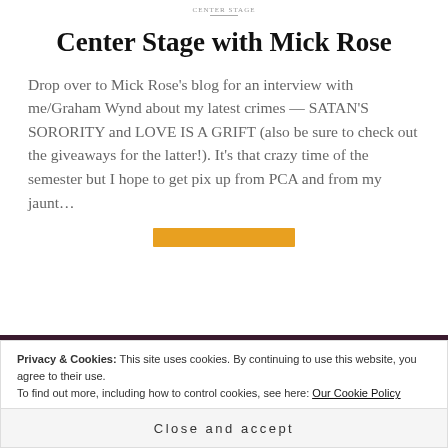CENTER STAGE
Center Stage with Mick Rose
Drop over to Mick Rose’s blog for an interview with me/Graham Wynd about my latest crimes — SATAN’S SORORITY and LOVE IS A GRIFT (also be sure to check out the giveaways for the latter!). It’s that crazy time of the semester but I hope to get pix up from PCA and from my jaunt…
Privacy & Cookies: This site uses cookies. By continuing to use this website, you agree to their use.
To find out more, including how to control cookies, see here: Our Cookie Policy
Close and accept